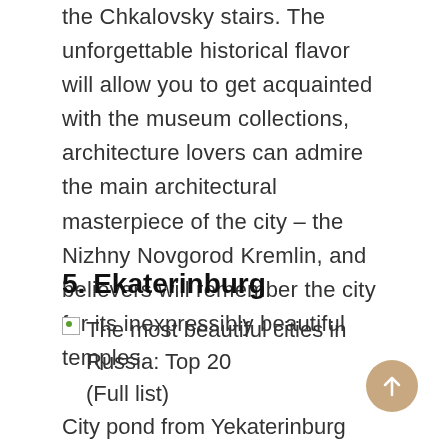the Chkalovsky stairs. The unforgettable historical flavor will allow you to get acquainted with the museum collections, architecture lovers can admire the main architectural masterpiece of the city – the Nizhny Novgorod Kremlin, and believers will remember the city for its inexpressibly beautiful temples.
5. Ekaterinburg
[Figure (photo): Broken image placeholder with alt text: The most beautiful cities in Russia: Top 20 (Full list)]
City pond from Yekaterinburg City in